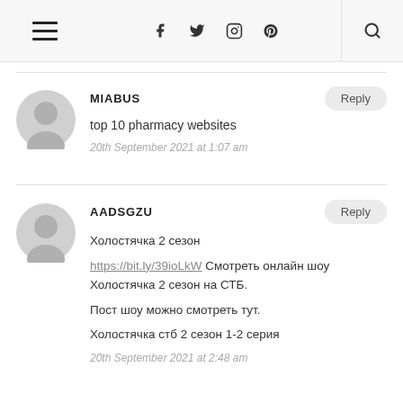Navigation bar with hamburger menu, social icons (f, twitter, instagram, pinterest), and search icon
MIABUS
top 10 pharmacy websites
20th September 2021 at 1:07 am
AADSGZU
Холостячка 2 сезон
https://bit.ly/39ioLkW Смотреть онлайн шоу Холостячка 2 сезон на СТБ.
Пост шоу можно смотреть тут.
Холостячка стб 2 сезон 1-2 серия
20th September 2021 at 2:48 am